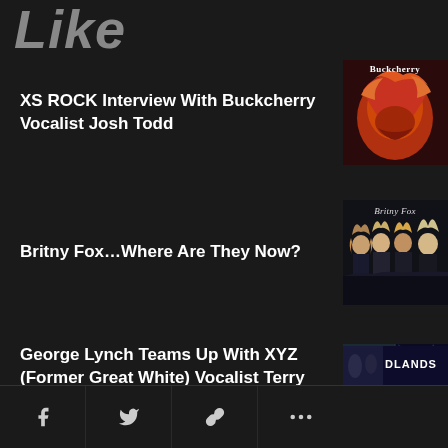Like
XS ROCK Interview With Buckcherry Vocalist Josh Todd
[Figure (photo): Buckcherry album cover art showing woman with fiery red hair]
Britny Fox…Where Are They Now?
[Figure (photo): Britny Fox band photo - four members with big hair]
George Lynch Teams Up With XYZ (Former Great White) Vocalist Terry Ilous For Blazing New Single “Dead Or Alive”
[Figure (photo): Composite photo for George Lynch and Terry Ilous collaboration]
[Figure (photo): Partial album cover showing DLANDS text and band members]
f  ✓  🔗  ⋯